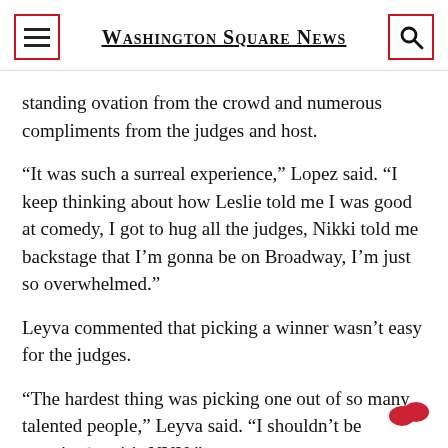Washington Square News
standing ovation from the crowd and numerous compliments from the judges and host.
“It was such a surreal experience,” Lopez said. “I keep thinking about how Leslie told me I was good at comedy, I got to hug all the judges, Nikki told me backstage that I’m gonna be on Broadway, I’m just so overwhelmed.”
Leyva commented that picking a winner wasn’t easy for the judges.
“The hardest thing was picking one out of so many talented people,” Leyva said. “I shouldn’t be surprised — it’s NYU.”